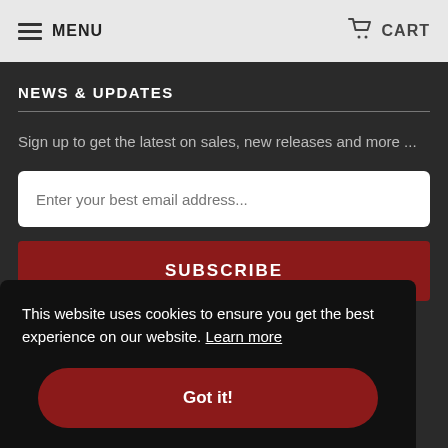MENU   CART
NEWS & UPDATES
Sign up to get the latest on sales, new releases and more ...
Enter your best email address...
SUBSCRIBE
This website uses cookies to ensure you get the best experience on our website. Learn more
Got it!